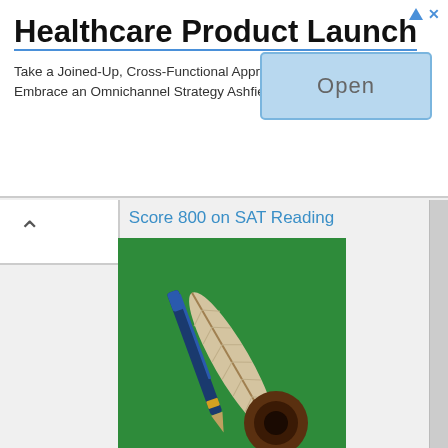[Figure (screenshot): Advertisement banner: Healthcare Product Launch. Take a Joined-Up, Cross-Functional Approach. Embrace an Omnichannel Strategy Ashfield Engage. With an Open button on the right.]
[Figure (illustration): Thumbnail image for 'Score 800 on SAT Reading' — green background with a quill feather, pen, and ink pot illustration.]
Score 800 on SAT Reading
[Figure (illustration): Thumbnail image for 'Score 800 on SAT Writing' — green background with writing instruments (pen, feather quill, ink).]
Score 800 on SAT Writing
[Figure (illustration): Thumbnail image for 'Free Complete Official SAT Practice Tests' — showing SAT paper, calculator, ruler, and school supplies on orange and grey background.]
Free Complete Official SAT Practice Tests
[Figure (screenshot): Partial thumbnail at the bottom, purple/pink background, partially visible.]